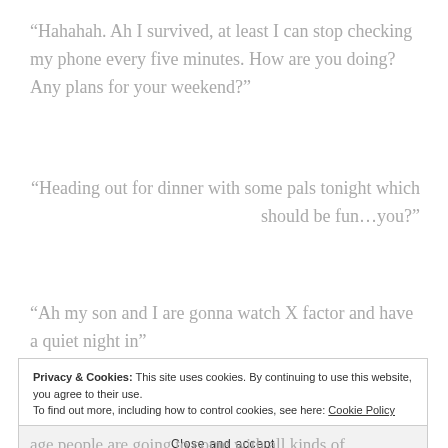“Hahahah. Ah I survived, at least I can stop checking my phone every five minutes. How are you doing? Any plans for your weekend?”
“Heading out for dinner with some pals tonight which should be fun…you?”
“Ah my son and I are gonna watch X factor and have a quiet night in”
Privacy & Cookies: This site uses cookies. By continuing to use this website, you agree to their use.
To find out more, including how to control cookies, see here: Cookie Policy
Close and accept
age people are going to come with all kinds of